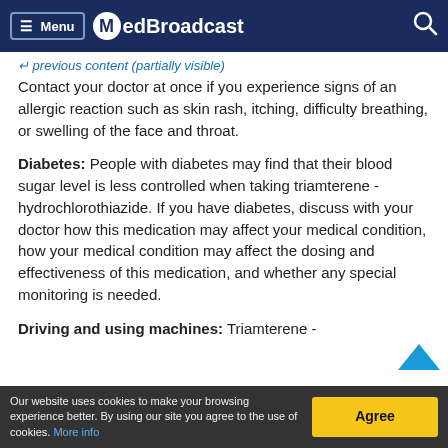Menu MedBroadcast
Contact your doctor at once if you experience signs of an allergic reaction such as skin rash, itching, difficulty breathing, or swelling of the face and throat.
Diabetes: People with diabetes may find that their blood sugar level is less controlled when taking triamterene - hydrochlorothiazide. If you have diabetes, discuss with your doctor how this medication may affect your medical condition, how your medical condition may affect the dosing and effectiveness of this medication, and whether any special monitoring is needed.
Driving and using machines: Triamterene -
Our website uses cookies to make your browsing experience better. By using our site you agree to the use of cookies. More info